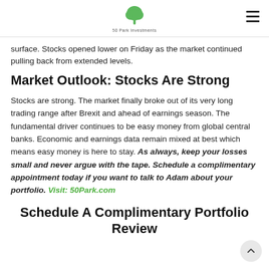50 Park Investments
surface. Stocks opened lower on Friday as the market continued pulling back from extended levels.
Market Outlook: Stocks Are Strong
Stocks are strong. The market finally broke out of its very long trading range after Brexit and ahead of earnings season. The fundamental driver continues to be easy money from global central banks. Economic and earnings data remain mixed at best which means easy money is here to stay. As always, keep your losses small and never argue with the tape. Schedule a complimentary appointment today if you want to talk to Adam about your portfolio. Visit: 50Park.com
Schedule A Complimentary Portfolio Review